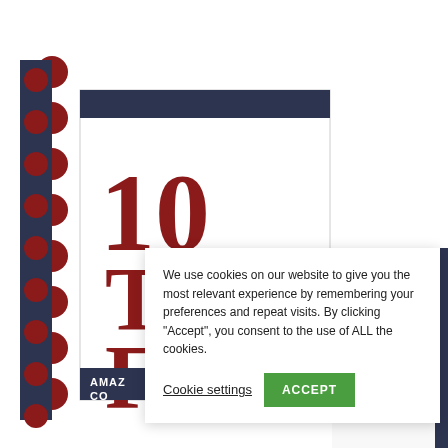[Figure (illustration): Decorative book/document cover graphic showing '10 TIPS FO' (partially obscured) with 'AMAZ... CO...' text at bottom, dark navy top bar, dark red/maroon large text, dark navy bottom bar, with a vertical strip of red dots on the left side forming a filmstrip or numbered list decoration.]
We use cookies on our website to give you the most relevant experience by remembering your preferences and repeat visits. By clicking “Accept”, you consent to the use of ALL the cookies.
Cookie settings  ACCEPT